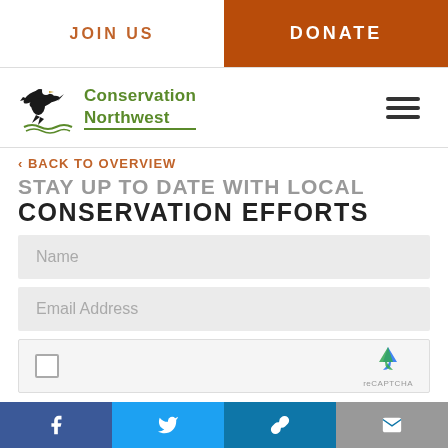JOIN US | DONATE
[Figure (logo): Conservation Northwest logo with eagle silhouette and wave graphic]
‹ BACK TO OVERVIEW
STAY UP TO DATE WITH LOCAL CONSERVATION EFFORTS
Name
Email Address
[Figure (other): reCAPTCHA widget with checkbox and logo]
Facebook | Twitter | Link | Email social share buttons